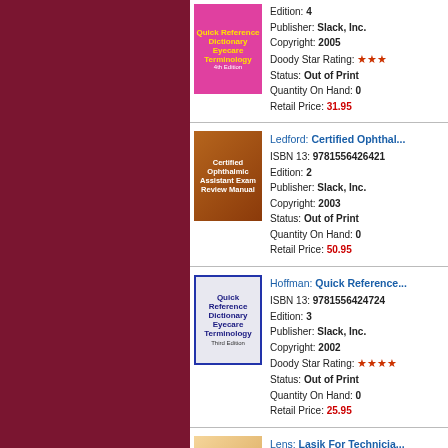Edition: 4 | Publisher: Slack, Inc. | Copyright: 2005 | Doody Star Rating: ★★★ | Status: Out of Print | Quantity On Hand: 0 | Retail Price: 31.95
Ledford: Certified Ophthal... | ISBN 13: 9781556426421 | Edition: 2 | Publisher: Slack, Inc. | Copyright: 2003 | Status: Out of Print | Quantity On Hand: 0 | Retail Price: 50.95
Hoffman: Quick Reference... | ISBN 13: 9781556424724 | Edition: 3 | Publisher: Slack, Inc. | Copyright: 2002 | Doody Star Rating: ★★★★ | Status: Out of Print | Quantity On Hand: 0 | Retail Price: 25.95
Lens: Lasik For Technicia... | ISBN 13: 9781556425509 | Edition: 1